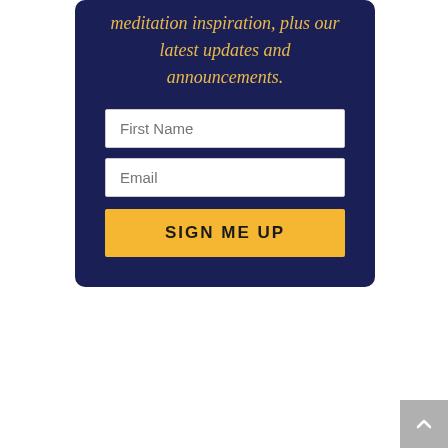meditation inspiration, plus our latest updates and announcements.
[Figure (screenshot): A signup form with First Name and Email input fields and a yellow SIGN ME UP button on a dark navy background card]
[Figure (other): A grey scroll-to-top button with an upward pointing chevron arrow in the bottom right corner]